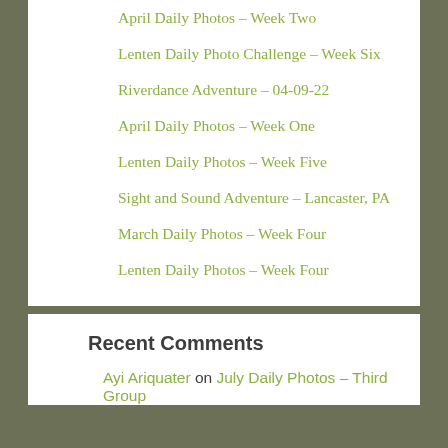April Daily Photos – Week Two
Lenten Daily Photo Challenge – Week Six
Riverdance Adventure – 04-09-22
April Daily Photos – Week One
Lenten Daily Photos – Week Five
Sight and Sound Adventure – Lancaster, PA
March Daily Photos – Week Four
Lenten Daily Photos – Week Four
Recent Comments
Ayi Ariquater on July Daily Photos – Third Group